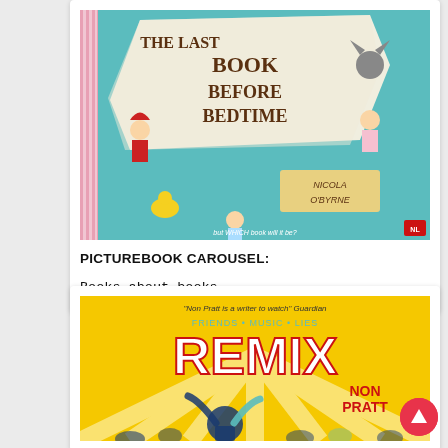[Figure (illustration): Book cover of 'The Last Book Before Bedtime' by Nicola O'Byrne, featuring illustrated fairy tale characters on a teal background with a yellow torn paper title area.]
PICTUREBOOK CAROUSEL:
Books about books
[Figure (illustration): Book cover of 'Remix' by Non Pratt, showing bold red and white text 'REMIX' on a yellow background with a silhouette of a person at a music festival with arms raised.]